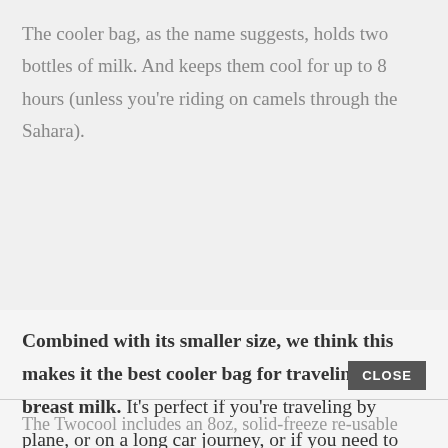The cooler bag, as the name suggests, holds two bottles of milk. And keeps them cool for up to 8 hours (unless you're riding on camels through the Sahara).
Combined with its smaller size, we think this makes it the best cooler bag for traveling with breast milk. It's perfect if you're traveling by plane, or on a long car journey, or if you need to keep bottles cool at work all day. You definitely won't need to worry about taking up room in the office fridge!
The Twocool includes an 8oz, solid-freeze re-usable